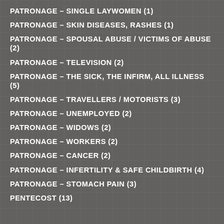PATRONAGE – SINGLE LAYWOMEN (1)
PATRONAGE – SKIN DISEASES, RASHES (1)
PATRONAGE – SPOUSAL ABUSE / VICTIMS OF ABUSE (2)
PATRONAGE – TELEVISION (2)
PATRONAGE – THE SICK, THE INFIRM, ALL ILLNESS (5)
PATRONAGE – TRAVELLERS / MOTORISTS (3)
PATRONAGE – UNEMPLOYED (2)
PATRONAGE – WIDOWS (2)
PATRONAGE – WORKERS (2)
PATRONAGE – CANCER (2)
PATRONAGE – INFERTILITY & SAFE CHILDBIRTH (4)
PATRONAGE – STOMACH PAIN (3)
PENTECOST (13)